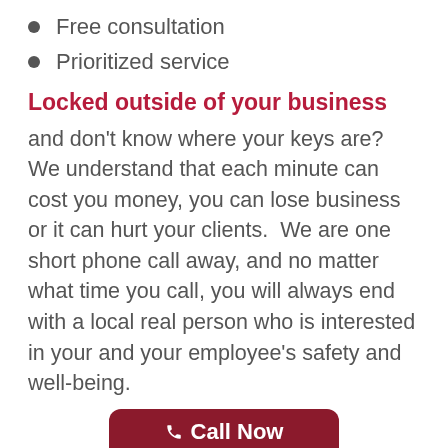Free consultation
Prioritized service
Locked outside of your business
and don't know where your keys are? We understand that each minute can cost you money, you can lose business or it can hurt your clients.  We are one short phone call away, and no matter what time you call, you will always end with a local real person who is interested in your and your employee's safety and well-being.
Call Now (314) 400-7054